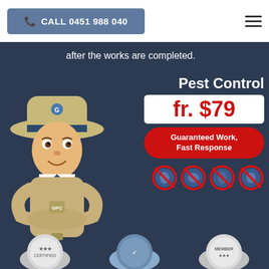CALL 0451 988 040
after the works are completed.
[Figure (illustration): Cartoon mascot - a 3D animated pest control inspector character in a tan trench coat and brimmed hat with arms crossed, smiling]
Pest Control
fr. $79
Guaranteed Work, Fast Response
[Figure (illustration): Four circular no-pest icons with red circle-slash symbols over images of various insects/pests]
[Figure (illustration): Three certification/award badge icons at the bottom of the page]